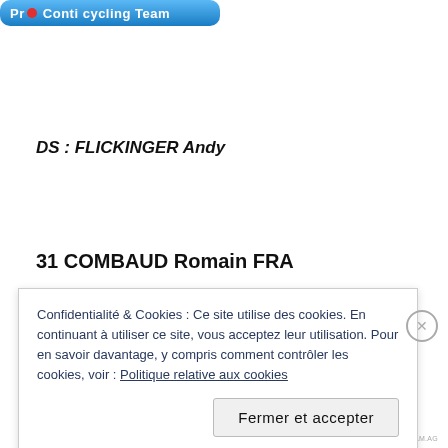[Figure (logo): Pro cycling team logo banner in blue with red dot]
DS : FLICKINGER Andy
31 COMBAUD Romain FRA
Confidentialité & Cookies : Ce site utilise des cookies. En continuant à utiliser ce site, vous acceptez leur utilisation. Pour en savoir davantage, y compris comment contrôler les cookies, voir : Politique relative aux cookies
Fermer et accepter